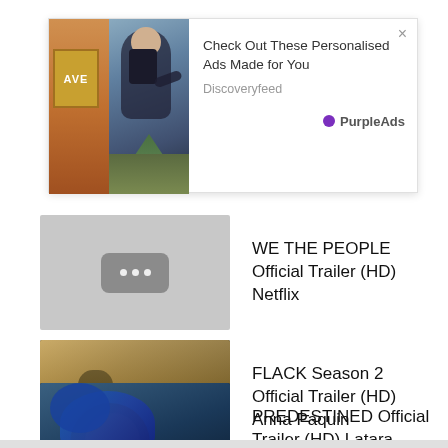[Figure (screenshot): Advertisement banner: 'Check Out These Personalised Ads Made for You' from Discoveryfeed, branded with PurpleAds. Shows outdoor/hiking photo on left, close button (×) top right.]
WE THE PEOPLE Official Trailer (HD) Netflix
FLACK Season 2 Official Trailer (HD) Anna Paquin
PREDESTINED Official Trailer (HD) Latara Delancy